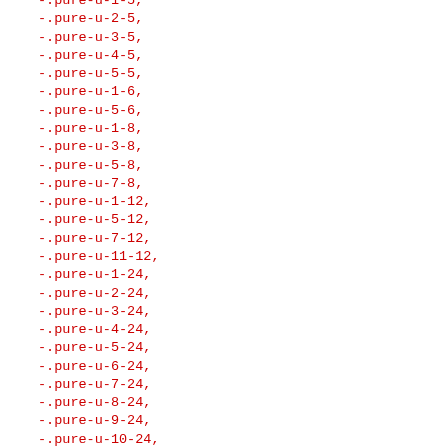-.pure-u-1-5,
-.pure-u-2-5,
-.pure-u-3-5,
-.pure-u-4-5,
-.pure-u-5-5,
-.pure-u-1-6,
-.pure-u-5-6,
-.pure-u-1-8,
-.pure-u-3-8,
-.pure-u-5-8,
-.pure-u-7-8,
-.pure-u-1-12,
-.pure-u-5-12,
-.pure-u-7-12,
-.pure-u-11-12,
-.pure-u-1-24,
-.pure-u-2-24,
-.pure-u-3-24,
-.pure-u-4-24,
-.pure-u-5-24,
-.pure-u-6-24,
-.pure-u-7-24,
-.pure-u-8-24,
-.pure-u-9-24,
-.pure-u-10-24,
-.pure-u-11-24,
-.pure-u-12-24,
-.pure-u-13-24,
-.pure-u-14-24,
-.pure-u-15-24,